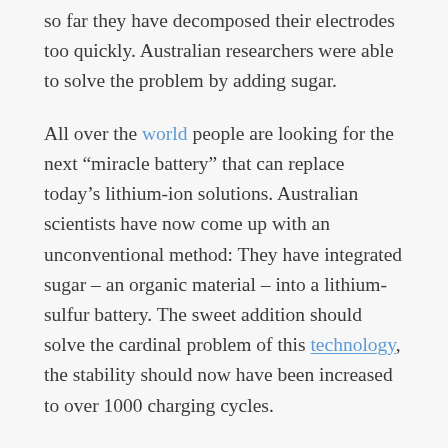so far they have decomposed their electrodes too quickly. Australian researchers were able to solve the problem by adding sugar.
All over the world people are looking for the next "miracle battery" that can replace today's lithium-ion solutions. Australian scientists have now come up with an unconventional method: They have integrated sugar – an organic material – into a lithium-sulfur battery. The sweet addition should solve the cardinal problem of this technology, the stability should now have been increased to over 1000 charging cycles.
The lithium-sulfur technology is particularly promising because up to five times as high charging capacities can be achieved in the laboratory. The problem: the